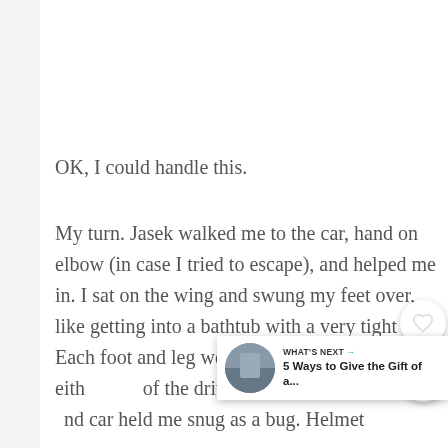OK, I could handle this.
My turn. Jasek walked me to the car, hand on elbow (in case I tried to escape), and helped me in. I sat on the wing and swung my feet over, like getting into a bathtub with a very tight fit. Each foot and leg went into a narrow tunnel on eith of the driver. The padding of the suit and car held me snug as a bug. Helmet